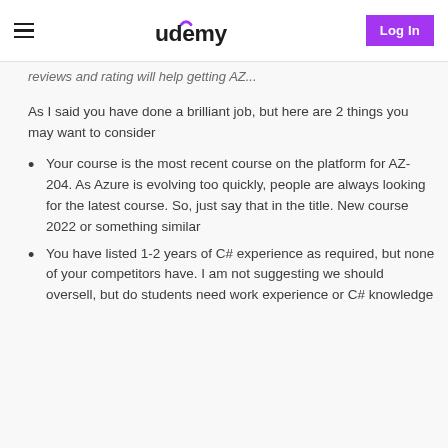Udemy — Log In
reviews and rating will help getting AZ...
As I said you have done a brilliant job, but here are 2 things you may want to consider
Your course is the most recent course on the platform for AZ-204. As Azure is evolving too quickly, people are always looking for the latest course. So, just say that in the title. New course 2022 or something similar
You have listed 1-2 years of C# experience as required, but none of your competitors have. I am not suggesting we should oversell, but do students need work experience or C# knowledge